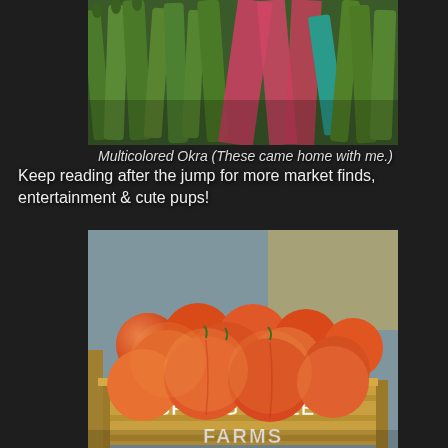[Figure (photo): Close-up photo of multicolored okra including green and pink/red varieties arranged together]
Multicolored Okra (These came home with me.) Keep reading after the jump for more market finds, entertainment & cute pups!
[Figure (photo): Wooden crate labeled SPRING VALLEY FARMS filled with fresh peaches at a farmers market]